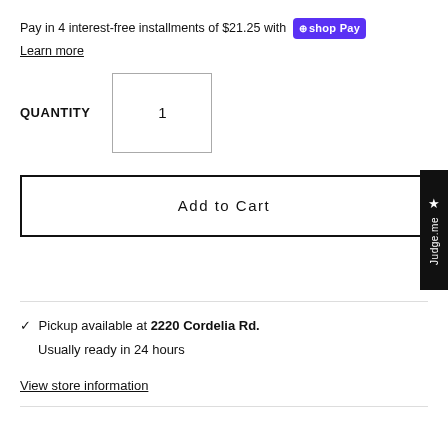Pay in 4 interest-free installments of $21.25 with shop Pay
Learn more
QUANTITY   1
Add to Cart
✓ Pickup available at 2220 Cordelia Rd.
Usually ready in 24 hours
View store information